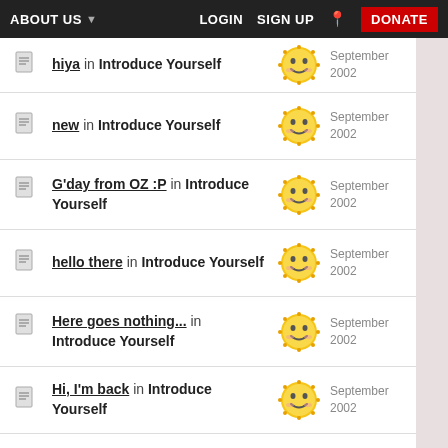ABOUT US  LOGIN  SIGN UP  DONATE
hiya in Introduce Yourself — September 2002
new in Introduce Yourself — September 2002
G'day from OZ :P in Introduce Yourself — September 2002
hello there in Introduce Yourself — September 2002
Here goes nothing... in Introduce Yourself — September 2002
Hi, I'm back in Introduce Yourself — September 2002